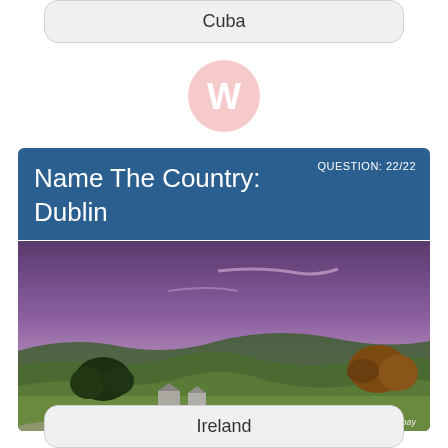Cuba
[Figure (logo): Circular logo with a W letter, pink/salmon color scheme]
[Figure (photo): Quiz card with dark blue header showing 'Name The Country: Dublin' and 'QUESTION: 22/22', below which is a landscape photo of rolling green hills with purple sky at dusk, attributed to pixabay]
Ireland